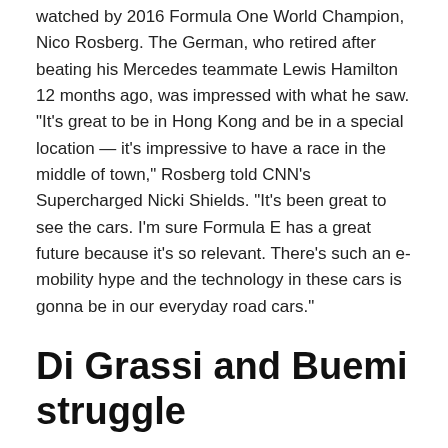watched by 2016 Formula One World Champion, Nico Rosberg. The German, who retired after beating his Mercedes teammate Lewis Hamilton 12 months ago, was impressed with what he saw. "It's great to be in Hong Kong and be in a special location — it's impressive to have a race in the middle of town," Rosberg told CNN's Supercharged Nicki Shields. "It's been great to see the cars. I'm sure Formula E has a great future because it's so relevant. There's such an e-mobility hype and the technology in these cars is gonna be in our everyday road cars."
Di Grassi and Buemi struggle
The previous two years were dominated by last year's champion Lucas di Grassi and 2015/16 winner Sebastien Buemi, but both may have their work cut out this season. Visit CNN.com/motorsport for the latest Formula E news Di Grassi finished down in 18th place after he had to swap cars early in the race following a collision with his Audi Sport ABT Schaeffler teammate Daniel Abt. The news wasn't much better for Buemi who started the race in ninth and